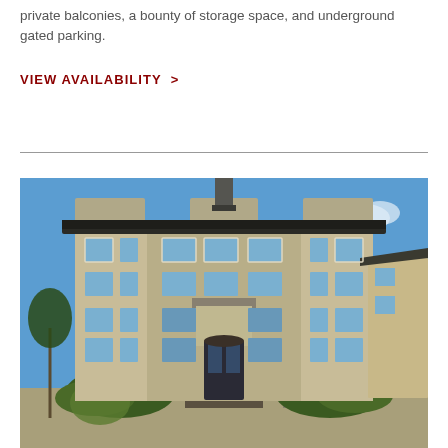private balconies, a bounty of storage space, and underground gated parking.
VIEW AVAILABILITY >
[Figure (photo): Exterior photo of a multi-story residential apartment building with beige and grey facade, multiple windows, a central entrance with stairs and landscaping in the foreground, under a clear blue sky.]